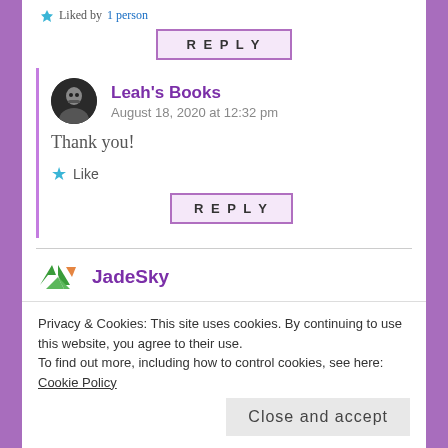Liked by 1 person
REPLY
Leah's Books
August 18, 2020 at 12:32 pm
Thank you!
Like
REPLY
JadeSky
Privacy & Cookies: This site uses cookies. By continuing to use this website, you agree to their use.
To find out more, including how to control cookies, see here: Cookie Policy
Close and accept
my · · ·